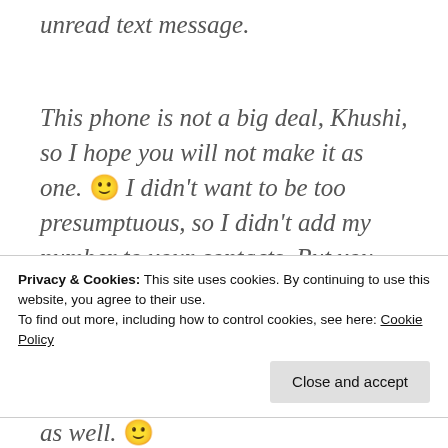unread text message.
This phone is not a big deal, Khushi, so I hope you will not make it as one. 🙂 I didn't want to be too presumptuous, so I didn't add my number to your contacts. But you have mine now. I will leave it up to you to decide. This phone number is yours and your call-information is also solely yours. The bills are yours as well. 🙂
Privacy & Cookies: This site uses cookies. By continuing to use this website, you agree to their use.
To find out more, including how to control cookies, see here: Cookie Policy
Close and accept